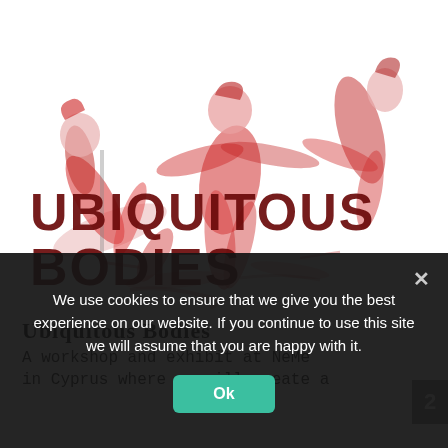[Figure (illustration): Red and white artistic illustration of dancing/moving human figures with overlapping motion blur effect, with bold dark red text 'UBIQUITOUSBODIES' overlaid across the center of the image]
Ubiquitous Bodies
A workshop and exhibit at NeMe
in Cyprus where we will create a
We use cookies to ensure that we give you the best experience on our website. If you continue to use this site we will assume that you are happy with it.
Ok